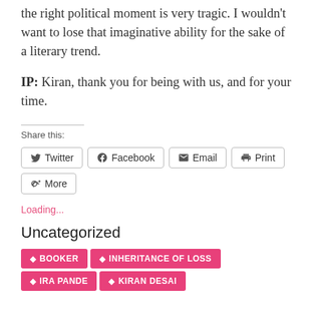the right political moment is very tragic. I wouldn't want to lose that imaginative ability for the sake of a literary trend.
IP: Kiran, thank you for being with us, and for your time.
Share this:
[Figure (other): Social share buttons: Twitter, Facebook, Email, Print, More]
Loading...
Uncategorized
BOOKER
INHERITANCE OF LOSS
IRA PANDE
KIRAN DESAI